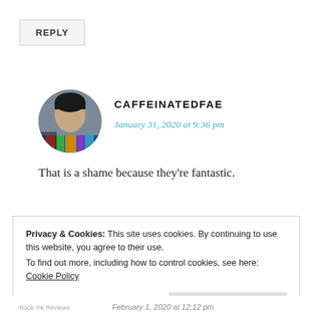REPLY
CAFFEINATEDFAE
January 31, 2020 at 9:36 pm
[Figure (photo): Circular avatar photo of user CAFFEINATEDFAE, a person partially obscured by colorful books]
That is a shame because they’re fantastic.
★ Like
Privacy & Cookies: This site uses cookies. By continuing to use this website, you agree to their use.
To find out more, including how to control cookies, see here: Cookie Policy
Close and accept
Book Ink Reviews February 1, 2020 at 12:12 pm